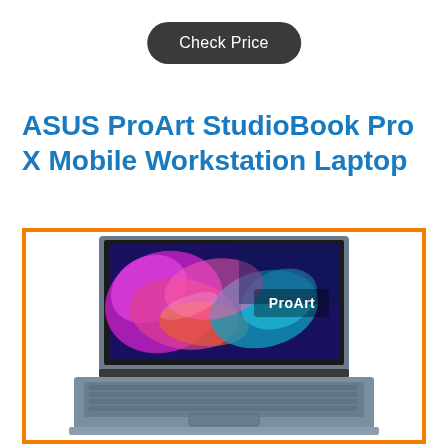Check Price
ASUS ProArt StudioBook Pro X Mobile Workstation Laptop
[Figure (photo): ASUS ProArt StudioBook Pro X laptop open showing a colorful abstract wallpaper with the ProArt logo on screen, silver/blue body with full keyboard visible, inside an orange border frame]